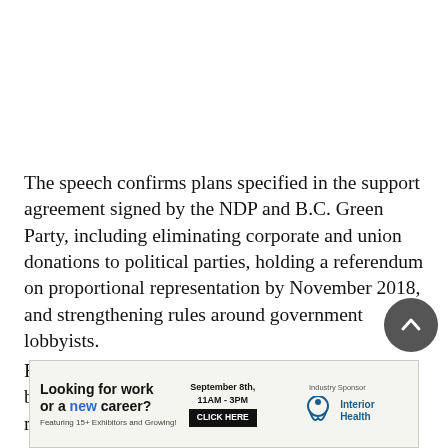The speech confirms plans specified in the support agreement signed by the NDP and B.C. Green Party, including eliminating corporate and union donations to political parties, holding a referendum on proportional representation by November 2018, and strengthening rules around government lobbyists.
Finance Minister Carole James is to present a budget update in the legislature on Monday, making changes to the
[Figure (other): Advertisement banner: 'Looking for work or a new career? Featuring 15+ Exhibitors and Growing!' with event details September 8th, 11AM-3PM, CLICK HERE button, and Interior Health industry sponsor logo.]